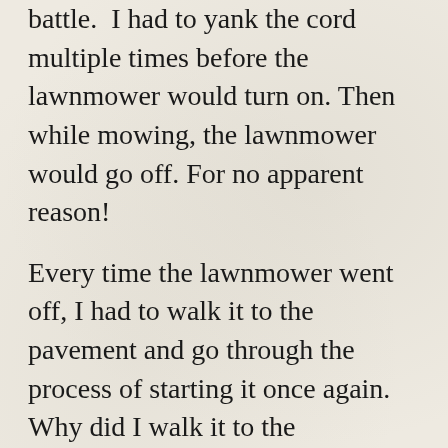battle.  I had to yank the cord multiple times before the lawnmower would turn on. Then while mowing, the lawnmower would go off. For no apparent reason!
Every time the lawnmower went off, I had to walk it to the pavement and go through the process of starting it once again. Why did I walk it to the pavement? Well, the lawnmower would not start on the lawn. Can that be any more ironic?